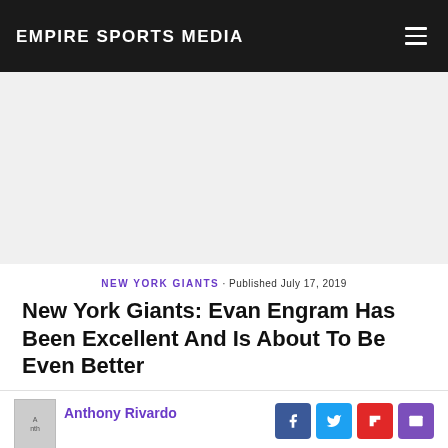EMPIRE SPORTS MEDIA
NEW YORK GIANTS · Published July 17, 2019
New York Giants: Evan Engram Has Been Excellent And Is About To Be Even Better
Anthony Rivardo
[Figure (photo): Bottom portion of article page showing a New York Giants player under colorful lights]